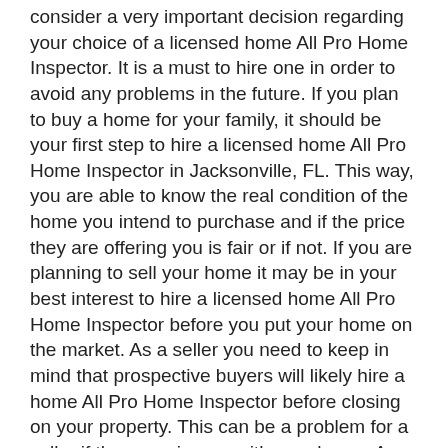consider a very important decision regarding your choice of a licensed home All Pro Home Inspector. It is a must to hire one in order to avoid any problems in the future. If you plan to buy a home for your family, it should be your first step to hire a licensed home All Pro Home Inspector in Jacksonville, FL. This way, you are able to know the real condition of the home you intend to purchase and if the price they are offering you is fair or if not. If you are planning to sell your home it may be in your best interest to hire a licensed home All Pro Home Inspector before you put your home on the market. As a seller you need to keep in mind that prospective buyers will likely hire a home All Pro Home Inspector before closing on your property. This can be a problem for a seller if there are issues with your home. A home All Pro Home Inspector is authorized to check for damages or problems with fixtures and wiring in the house. This will also give you a reasonable pricing in the market. The report from the home All Pro Home Inspector will give you significant points to consider in the process of negotiation for a home purchase or a home sale.
Many of the technical problems that could be found with your house are sometimes difficult for the untrained person to find. So don't take a chance and miss a lot of things just because you want to